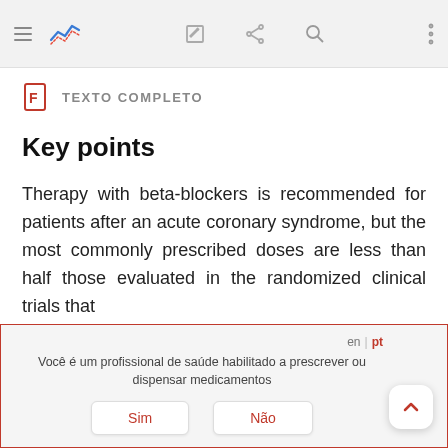[Figure (screenshot): Mobile app toolbar with hamburger menu, blue chart icon, edit icon, share icon, search icon, and vertical dots menu on gray background]
TEXTO COMPLETO
Key points
Therapy with beta-blockers is recommended for patients after an acute coronary syndrome, but the most commonly prescribed doses are less than half those evaluated in the randomized clinical trials that
Você é um profissional de saúde habilitado a prescrever ou dispensar medicamentos
Sim
Não